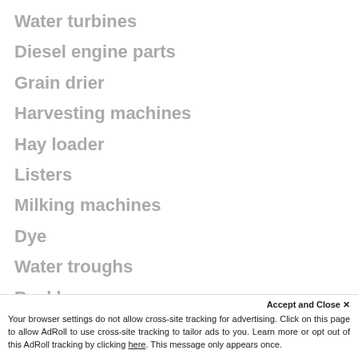Water turbines
Diesel engine parts
Grain drier
Harvesting machines
Hay loader
Listers
Milking machines
Dye
Water troughs
Backhoes
Concrete plants
Accept and Close ×
Your browser settings do not allow cross-site tracking for advertising. Click on this page to allow AdRoll to use cross-site tracking to tailor ads to you. Learn more or opt out of this AdRoll tracking by clicking here. This message only appears once.